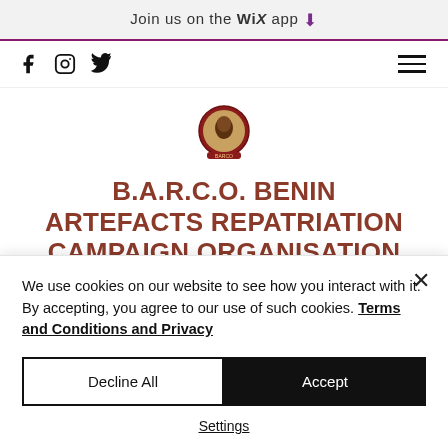Join us on the WiX app ⬇
[Figure (screenshot): Navigation bar with Facebook, Instagram, Twitter social icons on the left and hamburger menu on the right]
[Figure (logo): B.A.R.C.O. organization circular logo with a bronze/terracotta face sculpture inside a decorative red circular border]
B.A.R.C.O. BENIN ARTEFACTS REPATRIATION CAMPAIGN ORGANISATION
barco.org@gmail.com
We use cookies on our website to see how you interact with it. By accepting, you agree to our use of such cookies. Terms and Conditions and Privacy
Decline All
Accept
Settings